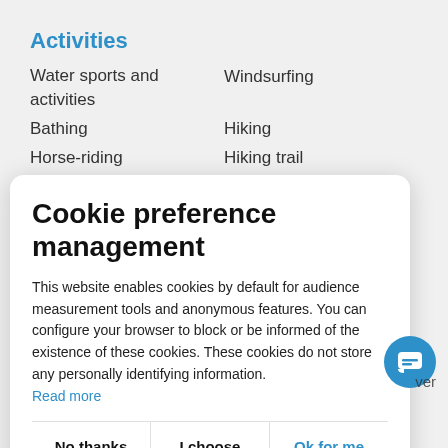Activities
Water sports and activities
Windsurfing
Bathing
Hiking
Horse-riding
Hiking trail
Thalassotherapy
Cookie preference management
This website enables cookies by default for audience measurement tools and anonymous features. You can configure your browser to block or be informed of the existence of these cookies. These cookies do not store any personally identifying information.
Read more
No thanks  |  I choose  |  Ok for me